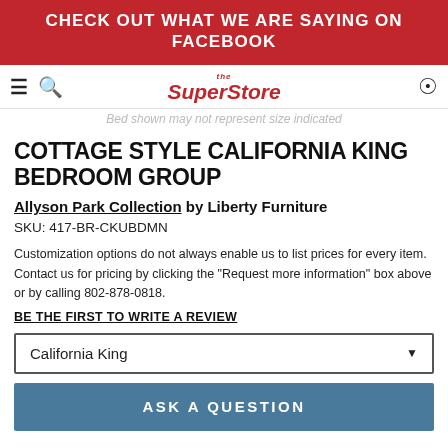CHECK OUT WHAT WE ARE SAYING ON FACEBOOK
[Figure (logo): the SuperStore logo with hamburger menu, search icon, and location pin icon]
Bed shown may not represent size indicated
COTTAGE STYLE CALIFORNIA KING BEDROOM GROUP
Allyson Park Collection by Liberty Furniture
SKU: 417-BR-CKUBDMN
Customization options do not always enable us to list prices for every item. Contact us for pricing by clicking the "Request more information" box above or by calling 802-878-0818.
BE THE FIRST TO WRITE A REVIEW
California King
ASK A QUESTION